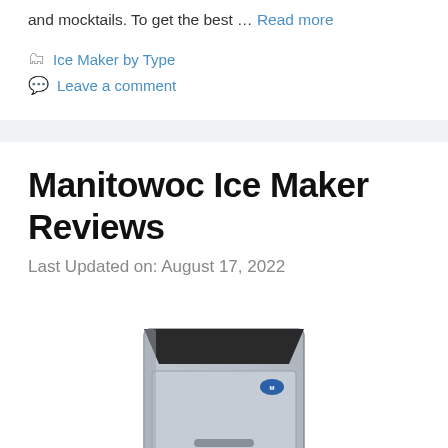and mocktails. To get the best … Read more
Ice Maker by Type
Leave a comment
Manitowoc Ice Maker Reviews
Last Updated on: August 17, 2022
[Figure (photo): Manitowoc commercial ice maker machine, stainless steel undercounter model with black top panel and blue brand logo, partially cropped at bottom of page]